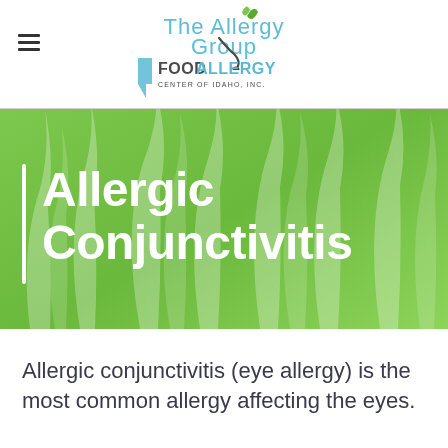The Allergy Group | Food Allergy Center of Idaho, Inc.
Allergic Conjunctivitis
Allergic conjunctivitis (eye allergy) is the most common allergy affecting the eyes.